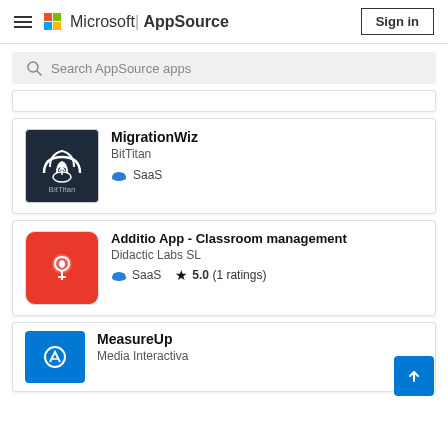Microsoft AppSource — Sign in
Search AppSource apps
[Figure (screenshot): Partial app card (top, content cut off)]
MigrationWiz
BitTitan
SaaS
Additio App - Classroom management
Didactic Labs SL
SaaS  ★ 5.0 (1 ratings)
MeasureUp
Media Interactiva